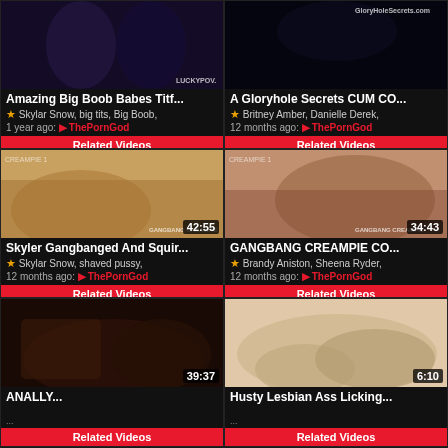[Figure (screenshot): Video thumbnail grid of adult video website with 6 video cards in 2-column layout]
Amazing Big Boob Babes Titf...
Skylar Snow, big tits, Big Boob,
1 year ago: ThePornGod
Related Videos
A Gloryhole Secrets CUM CO...
Britney Amber, Danielle Derek,
12 months ago: ThePornGod
Related Videos
Skyler Gangbanged And Squir...
Skylar Snow, shaved pussy,
12 months ago: ThePornGod
Related Videos
GANGBANG CREAMPIE CO...
Brandy Aniston, Sheena Ryder,
12 months ago: ThePornGod
Related Videos
ANALLY... (truncated)
Related Videos
Husty Lesbian Ass Licking... (truncated)
Related Videos